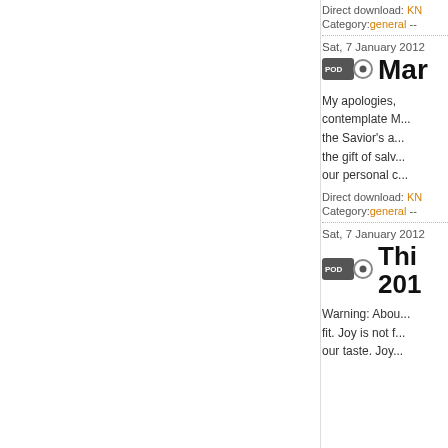Direct download: KN...
Category: general --
Sat, 7 January 2012
Mar...
My apologies, contemplate M... the Savior's a... the gift of salv... our personal c...
Direct download: KN...
Category: general --
Sat, 7 January 2012
Thi... 201...
Warning: Abou... fit. Joy is not f... our taste. Joy...